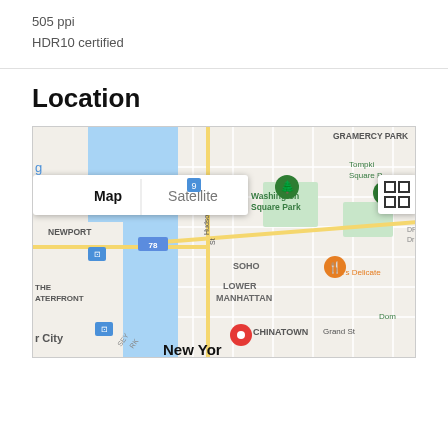505 ppi
HDR10 certified
Location
[Figure (map): Google Map showing Lower Manhattan, New York area including Soho, Chinatown, Gramercy Park, Tompkins Square Park, Washington Square Park, Newport, The Waterfront, with a red location pin in the Chinatown area. Map/Satellite toggle visible at top left.]